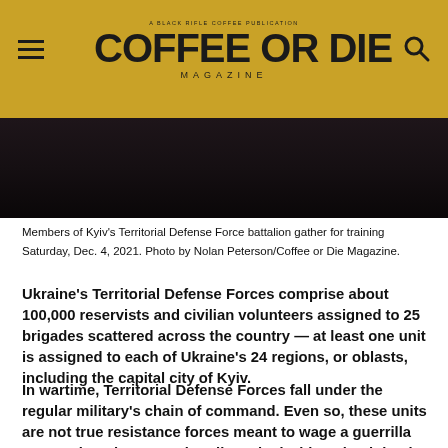COFFEE OR DIE MAGAZINE
[Figure (photo): Dark photograph of members of Kyiv's Territorial Defense Force battalion gathering for training]
Members of Kyiv’s Territorial Defense Force battalion gather for training Saturday, Dec. 4, 2021. Photo by Nolan Peterson/Coffee or Die Magazine.
Ukraine’s Territorial Defense Forces comprise about 100,000 reservists and civilian volunteers assigned to 25 brigades scattered across the country — at least one unit is assigned to each of Ukraine’s 24 regions, or oblasts, including the capital city of Kyiv.
In wartime, Territorial Defense Forces fall under the regular military’s chain of command. Even so, these units are not true resistance forces meant to wage a guerrilla war. Rather, they are primarily tasked with maintaining law and order, protecting key infrastructure sites from